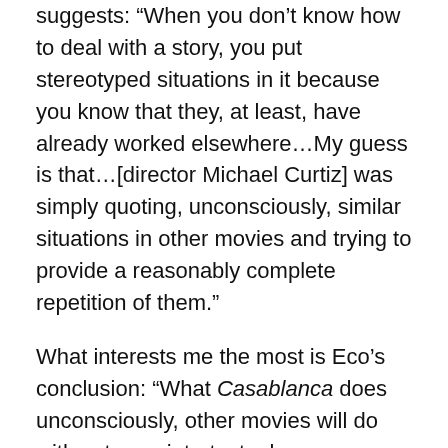suggests: “When you don’t know how to deal with a story, you put stereotyped situations in it because you know that they, at least, have already worked elsewhere…My guess is that…[director Michael Curtiz] was simply quoting, unconsciously, similar situations in other movies and trying to provide a reasonably complete repetition of them.”
What interests me the most is Eco’s conclusion: “What Casablanca does unconsciously, other movies will do with extreme intertextual awareness, assuming also that the addressee is equally aware of their purposes.” He cites Raiders of the Lost Ark and E.T. as two examples, and he easily could have named Star Wars as well, which is explicitly made up of such references. (In fact, George Lucas was putting together story reels before there was even a word for it: “Every time there was a war movie on television, like The Bridges at Toko-Ri, I would watch it